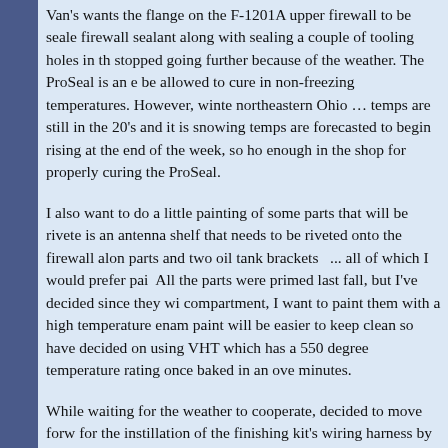Van's wants the flange on the F-1201A upper firewall to be sealed with firewall sealant along with sealing a couple of tooling holes in the firewall. I stopped going further because of the weather. The ProSeal is an epoxy that must be allowed to cure in non-freezing temperatures. However, winter has arrived in northeastern Ohio … temps are still in the 20's and it is snowing … however, temps are forecasted to begin rising at the end of the week, so hoping it gets warm enough in the shop for properly curing the ProSeal.
I also want to do a little painting of some parts that will be riveted to the firewall. There is an antenna shelf that needs to be riveted onto the firewall along with some bracket parts and two oil tank brackets  ... all of which I would prefer painted before riveting.  All the parts were primed last fall, but I've decided since they will be in the engine compartment, I want to paint them with a high temperature enamel paint. The enamel paint will be easier to keep clean so have decided on using VHT sp102 engine enamel which has a 550 degree temperature rating once baked in an oven at 200 degrees for 30 minutes.
While waiting for the weather to cooperate, decided to move forward with preparations for the instillation of the finishing kit's wiring harness by installing a fuel flow sensor clamp on the top of the fuel flow sensor per the plans.